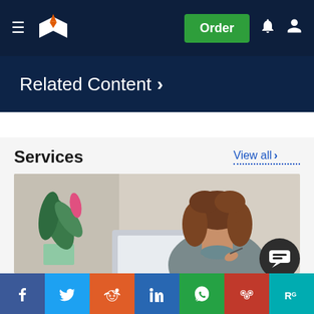[Figure (screenshot): Website navigation bar with hamburger menu, book/pen logo, Order button, notification bell, and user profile icon on dark navy background]
[Figure (screenshot): Related Content navigation banner with right chevron arrow on dark navy background]
Services
View all >
[Figure (photo): Young woman with curly brown hair sitting at a desk with a laptop, looking down, with a green potted plant in the background]
[Figure (screenshot): Social media sharing buttons: Facebook, Twitter, Reddit, LinkedIn, WhatsApp, Mendeley, ResearchGate]